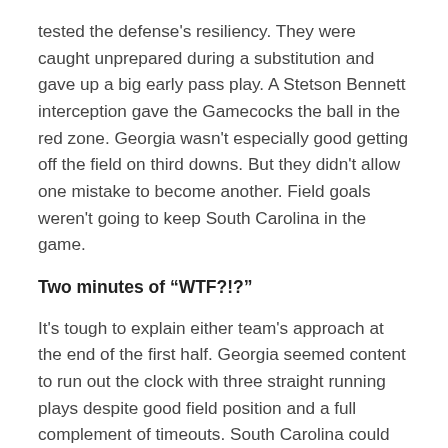tested the defense's resiliency. They were caught unprepared during a substitution and gave up a big early pass play. A Stetson Bennett interception gave the Gamecocks the ball in the red zone. Georgia wasn't especially good getting off the field on third downs. But they didn't allow one mistake to become another. Field goals weren't going to keep South Carolina in the game.
Two minutes of “WTF?!?”
It's tough to explain either team's approach at the end of the first half. Georgia seemed content to run out the clock with three straight running plays despite good field position and a full complement of timeouts. South Carolina could have taken a nice defensive stop and a two-score game into the locker room set to receive the second half kickoff. Shane Beamer called timeout to get possession of the ball with under a minute left and no